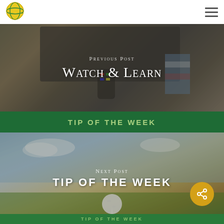[Figure (logo): Round globe logo with yellow/green earth graphic]
[Figure (photo): Person holding TV remote control in front of large screen TV, dimmed background]
Previous Post
Watch & Learn
TIP OF THE WEEK
[Figure (photo): Golf ball on tee against sky and green grass background]
Next Post
TIP OF THE WEEK
[Figure (other): Yellow share/social icon button]
TIP OF THE WEEK